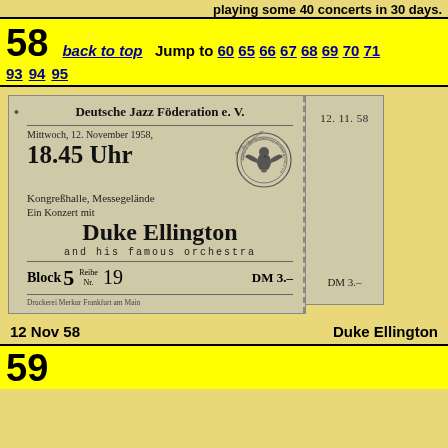playing some 40 concerts in 30 days.
58   back to top  Jump to 60 65 66 67 68 69 70 71 … 93 94 95
[Figure (photo): Scan of a concert ticket for Duke Ellington at Kongreßhalle, Messegelände, Frankfurt. Deutsche Jazz Föderation e. V., Mittwoch 12. November 1958, 18.45 Uhr, Block 5, Reihe Nr. 19, DM 3.–. Stub shows 12.11.58 and DM 3.–.]
12 Nov 58   Duke Ellington
59